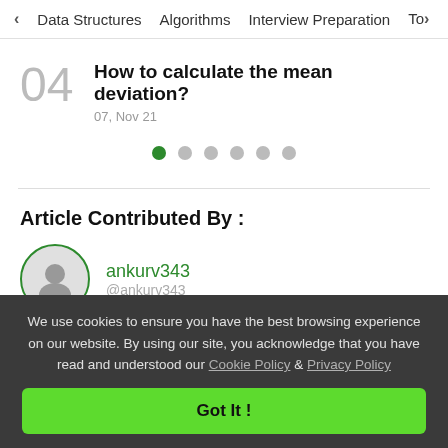< Data Structures   Algorithms   Interview Preparation   To>
04  How to calculate the mean deviation?
07, Nov 21
[Figure (other): Pagination dots: one green filled dot followed by five grey dots]
Article Contributed By :
ankurv343
@ankurv343
We use cookies to ensure you have the best browsing experience on our website. By using our site, you acknowledge that you have read and understood our Cookie Policy & Privacy Policy
Got It !